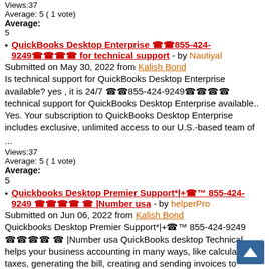Views:37
Average: 5 ( 1 vote)
Average:
5
QuickBooks Desktop Enterprise ☎☎855-424-9249☎☎☎☎ for technical support - by Nautiyal
Submitted on May 30, 2022 from Kalish Bond
Is technical support for QuickBooks Desktop Enterprise available? yes , it is 24/7 ☎☎855-424-9249☎☎☎☎ technical support for QuickBooks Desktop Enterprise available.. Yes. Your subscription to QuickBooks Desktop Enterprise includes exclusive, unlimited access to our U.S.-based team of ...
Views:37
Average: 5 ( 1 vote)
Average:
5
Quickbooks Desktop Premier Support*|+☎™ 855-424-9249 ☎☎☎☎ ☎ |Number usa - by helperPro
Submitted on Jun 06, 2022 from Kalish Bond
Quickbooks Desktop Premier Support*|+☎™ 855-424-9249 ☎☎☎☎ ☎ |Number usa QuickBooks desktop Technical helps your business accounting in many ways, like calculating taxes, generating the bill, creating and sending invoices to customers, creating the report, tracking your financial growth, ...
Views:37
Average: 5 ( 1 vote)
Average:
5
QuickBooks DESKTOP Pro Support** +1-855-433-6659 **Number - by Elon
Submitted on Apr 28, 2022 from Kalish Bond
QuickBooks Desktop Pro Support ☎|+1(855)*443*6659☎